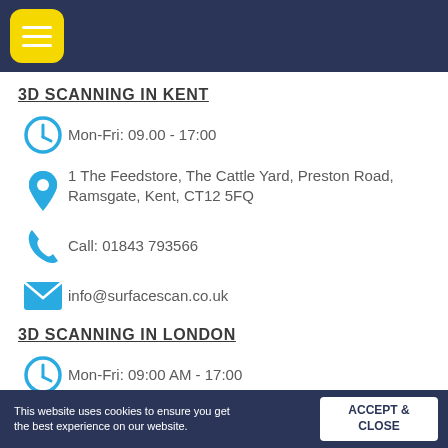[Figure (logo): Yellow rounded square menu/hamburger icon button on dark navy header bar]
3D SCANNING IN KENT
Mon-Fri: 09.00 - 17:00
1 The Feedstore, The Cattle Yard, Preston Road, Ramsgate, Kent, CT12 5FQ
Call: 01843 793566
info@surfacescan.co.uk
3D SCANNING IN LONDON
Mon-Fri: 09:00 AM - 17:00
This website uses cookies to ensure you get the best experience on our website.  ACCEPT & CLOSE